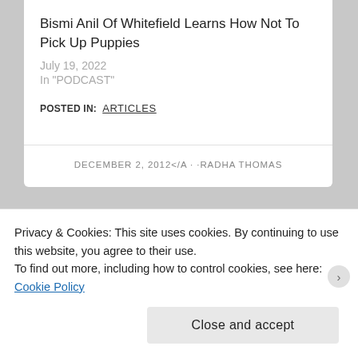Bismi Anil Of Whitefield Learns How Not To Pick Up Puppies
July 19, 2022
In "PODCAST"
POSTED IN: ARTICLES
DECEMBER 2, 2012</A · ·RADHA THOMAS
Privacy & Cookies: This site uses cookies. By continuing to use this website, you agree to their use.
To find out more, including how to control cookies, see here:
Cookie Policy
Close and accept